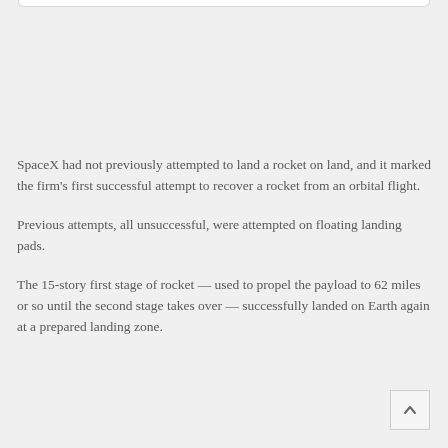SpaceX had not previously attempted to land a rocket on land, and it marked the firm's first successful attempt to recover a rocket from an orbital flight.
Previous attempts, all unsuccessful, were attempted on floating landing pads.
The 15-story first stage of rocket — used to propel the payload to 62 miles or so until the second stage takes over — successfully landed on Earth again at a prepared landing zone.